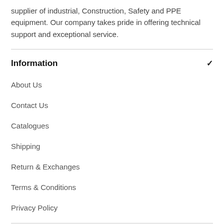supplier of industrial, Construction, Safety and PPE equipment. Our company takes pride in offering technical support and exceptional service.
Information
About Us
Contact Us
Catalogues
Shipping
Return & Exchanges
Terms & Conditions
Privacy Policy
Shop